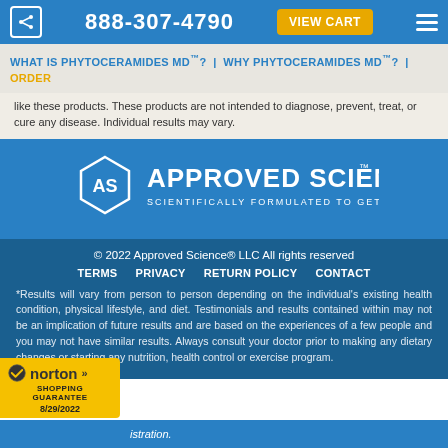888-307-4790 | VIEW CART
WHAT IS PHYTOCERAMIDES MD™? | WHY PHYTOCERAMIDES MD™? | ORDER
like these products. These products are not intended to diagnose, prevent, treat, or cure any disease. Individual results may vary.
[Figure (logo): Approved Science logo — hexagon with 'AS' initials, text 'APPROVED SCIENCE' and 'SCIENTIFICALLY FORMULATED TO GET RESULTS' in white on blue background]
© 2022 Approved Science® LLC All rights reserved
TERMS | PRIVACY | RETURN POLICY | CONTACT
*Results will vary from person to person depending on the individual's existing health condition, physical lifestyle, and diet. Testimonials and results contained within may not be an implication of future results and are based on the experiences of a few people and you may not have similar results. Always consult your doctor prior to making any dietary changes or starting any nutrition, health control or exercise program.
[Figure (logo): Norton Shopping Guarantee badge with yellow background, checkmark, 'norton' text and '8/29/2022' date]
istration.